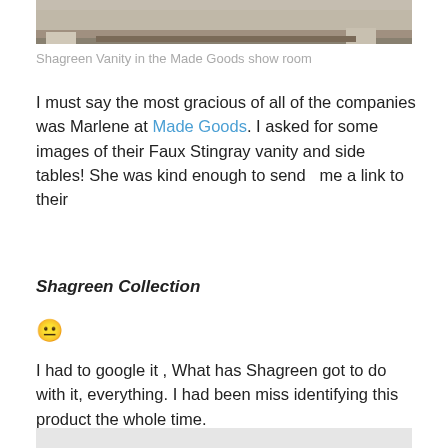[Figure (photo): Top portion of a piece of furniture (Shagreen Vanity) photographed in the Made Goods show room, showing legs and underside of the piece against a neutral floor background.]
Shagreen Vanity in the Made Goods show room
I must say the most gracious of all of the companies was Marlene at Made Goods. I asked for some images of their Faux Stingray vanity and side tables! She was kind enough to send  me a link to their
Shagreen Collection
😐
I had to google it , What has Shagreen got to do with it, everything. I had been miss identifying this product the whole time.
[Figure (photo): Bottom portion of a photo, showing a light grey/white background — partial view of another image.]